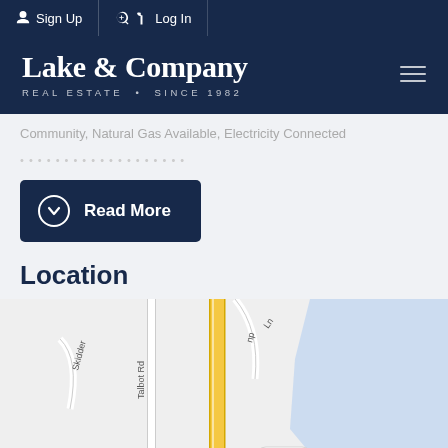Sign Up | Log In
[Figure (logo): Lake & Company Real Estate Since 1982 logo on dark navy background]
Community, Natural Gas Available, Electricity Connected
[Figure (other): Read More button with chevron-down circle icon, navy background]
Location
[Figure (map): Street map showing intersection near Skidder, Talbot Rd, and a yellow road. Blue area indicating water body at right. Label showing 64.5K.]